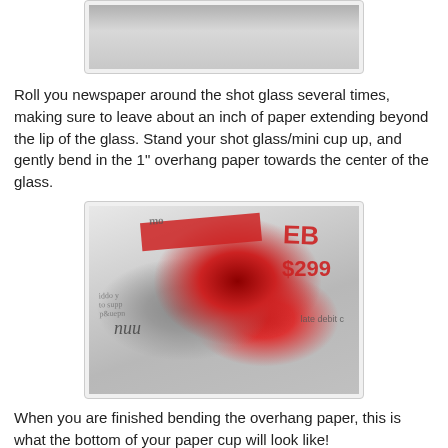[Figure (photo): Top portion of a photo showing a light gray surface, partially cropped at top of page]
Roll you newspaper around the shot glass several times, making sure to leave about an inch of paper extending beyond the lip of the glass. Stand your shot glass/mini cup up, and gently bend in the 1" overhang paper towards the center of the glass.
[Figure (photo): Photo of newspaper wrapped around the top of a shot glass, showing the paper folded/bent inward, with red and white newspaper print visible including '$299' and 'debit c']
When you are finished bending the overhang paper, this is what the bottom of your paper cup will look like!